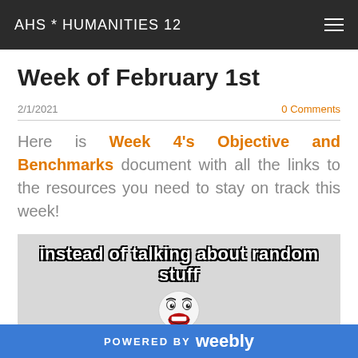AHS * HUMANITIES 12
Week of February 1st
2/1/2021
0 Comments
Here is Week 4's Objective and Benchmarks document with all the links to the resources you need to stay on track this week!
[Figure (illustration): Meme image showing a cartoon face with text 'instead of talking about random stuff']
POWERED BY weebly